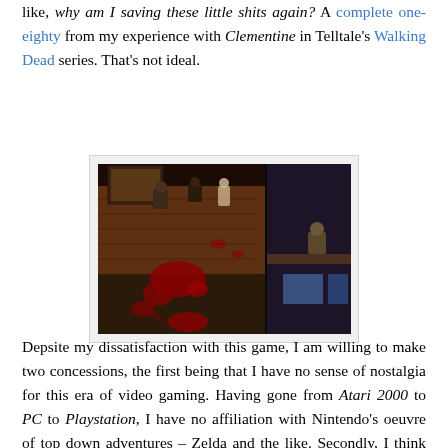like, why am I saving these little shits again? A complete one-eighty from my experience with Clementine in Telltale's Walking Dead series. That's not ideal.
[Figure (screenshot): Top-down video game screenshot showing a dark interior scene with wooden floors and walls, blood spatters, zombie-like enemies and a character in the lower right corner. The game appears to be a retro-style action game.]
Depsite my dissatisfaction with this game, I am willing to make two concessions, the first being that I have no sense of nostalgia for this era of video gaming. Having gone from Atari 2000 to PC to Playstation, I have no affiliation with Nintendo's oeuvre of top down adventures – Zelda and the like. Secondly, I think I've just been spoiled of late. After a long list of fantastic indies over the last twelve months (Gone